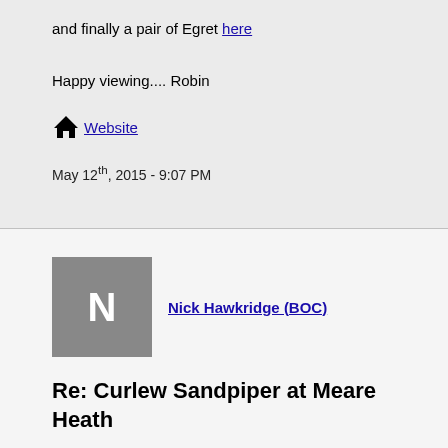and finally a pair of Egret here
Happy viewing.... Robin
🏠 Website
May 12th, 2015 - 9:07 PM
Nick Hawkridge (BOC)
Re: Curlew Sandpiper at Meare Heath
The Bristol Ornithological Club (Tuesday group) wishes to thank PK for his help yesterday. We only had 2 members who topped 6'2" so only they were able to see 'the pack' as it sheltered below the bank. However the birds spooked and settled on the mud enabling us all to ID and show some of our fledgling birders a new species in the shape of the Curlew Sandpiper. On our way back from Noah's we also ID's the